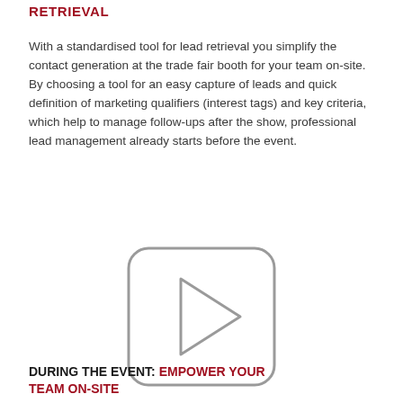RETRIEVAL
With a standardised tool for lead retrieval you simplify the contact generation at the trade fair booth for your team on-site. By choosing a tool for an easy capture of leads and quick definition of marketing qualifiers (interest tags) and key criteria, which help to manage follow-ups after the show, professional lead management already starts before the event.
[Figure (other): A video play button icon: rounded rectangle outline with a triangle play arrow in the center, rendered in grey.]
DURING THE EVENT: EMPOWER YOUR TEAM ON-SITE